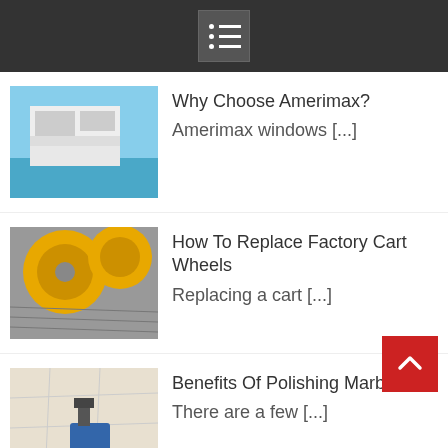Navigation menu header bar
Why Choose Amerimax? Amerimax windows [...]
How To Replace Factory Cart Wheels Replacing a cart [...]
Benefits Of Polishing Marbles There are a few [...]
An Overview Of Automatic Balanced Doors